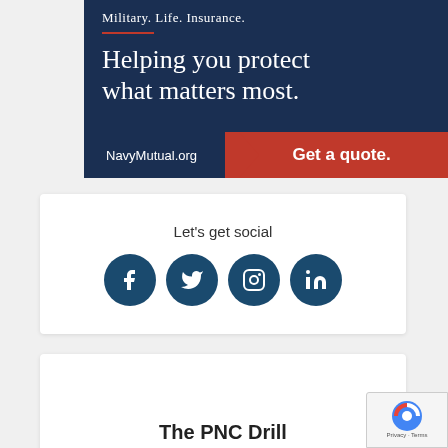[Figure (infographic): Navy Mutual insurance advertisement banner with dark navy background. Text reads 'Military. Life. Insurance.' with red divider line, then 'Helping you protect what matters most.' Below is a call-to-action bar showing 'NavyMutual.org' on the left and 'Get a quote.' button on the right in red.]
Let's get social
[Figure (infographic): Four circular social media icons in dark navy blue: Facebook (f), Twitter (bird), Instagram (camera), LinkedIn (in)]
The PNC Drill